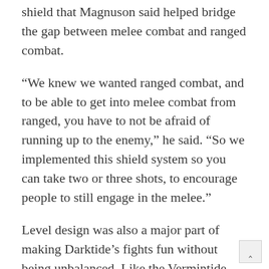shield that Magnuson said helped bridge the gap between melee combat and ranged combat.
“We knew we wanted ranged combat, and to be able to get into melee combat from ranged, you have to not be afraid of running up to the enemy,” he said. “So we implemented this shield system so you can take two or three shots, to encourage people to still engage in the melee.”
Level design was also a major part of making Darktide’s fights fun without being unbalanced. Like the Vermintide games, Darktide uses an AI director behind the scenes, which dictates where and when enemies show up to fight players, and what types of enemies those forces include. But that means, as Magnuson explained, the developers never know exactly what will